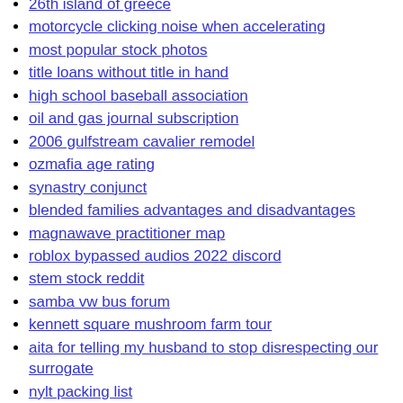26th island of greece
motorcycle clicking noise when accelerating
most popular stock photos
title loans without title in hand
high school baseball association
oil and gas journal subscription
2006 gulfstream cavalier remodel
ozmafia age rating
synastry conjunct
blended families advantages and disadvantages
magnawave practitioner map
roblox bypassed audios 2022 discord
stem stock reddit
samba vw bus forum
kennett square mushroom farm tour
aita for telling my husband to stop disrespecting our surrogate
nylt packing list
bethalto accident
colleague vs coworker reddit
starlight homes san marcos
happier camper competition
best 1080p 60fps webcam
autel registration
smart contract scanner github